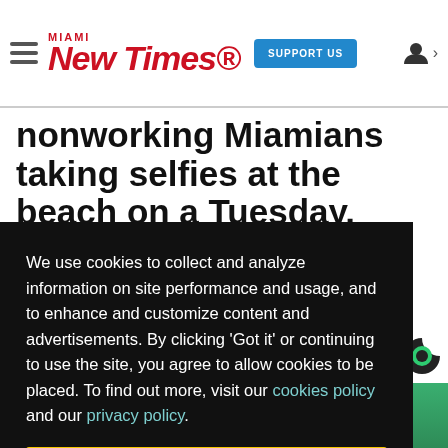Miami New Times — SUPPORT US
nonworking Miamians taking selfies at the beach on a Tuesday. YOLO.
We use cookies to collect and analyze information on site performance and usage, and to enhance and customize content and advertisements. By clicking 'Got it' or continuing to use the site, you agree to allow cookies to be placed. To find out more, visit our cookies policy and our privacy policy.
Got it!